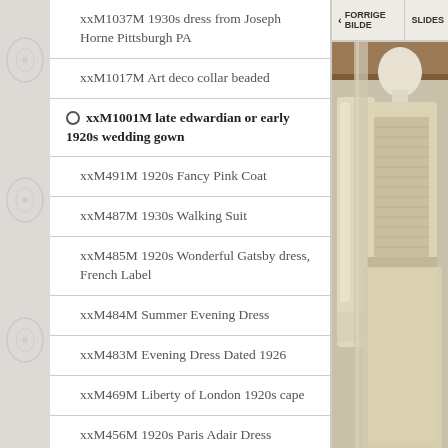xxM1037M 1930s dress from Joseph Horne Pittsburgh PA
xxM1017M Art deco collar beaded
xxM1001M late edwardian or early 1920s wedding gown
xxM491M 1920s Fancy Pink Coat
xxM487M 1930s Walking Suit
xxM485M 1920s Wonderful Gatsby dress, French Label
xxM484M Summer Evening Dress
xxM483M Evening Dress Dated 1926
xxM469M Liberty of London 1920s cape
xxM456M 1920s Paris Adair Dress
xxM490M Early 1920s House of Adair cape
[Figure (photo): A cream/ivory satin wedding gown on a mannequin, showing the bodice with gathered/smocked detailing and long sleeves, photographed against a wooden background. Navigation bar above shows FORRIGE BILDE and SLIDES options.]